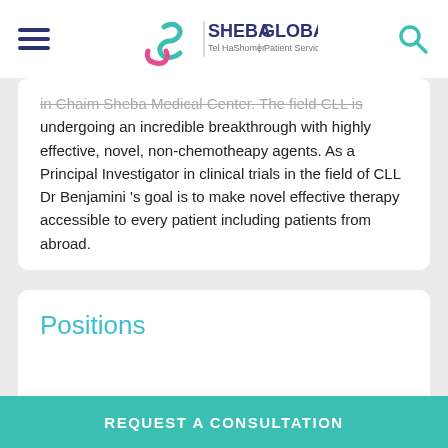SHEBA GLOBAL | Tel HaShomer | Patient Services
in Chaim Sheba Medical Center. The field CLL is undergoing an incredible breakthrough with highly effective, novel, non-chemotheapy agents. As a Principal Investigator in clinical trials in the field of CLL Dr Benjamini 's goal is to make novel effective therapy accessible to every patient including patients from abroad.
Positions
REQUEST A CONSULTATION